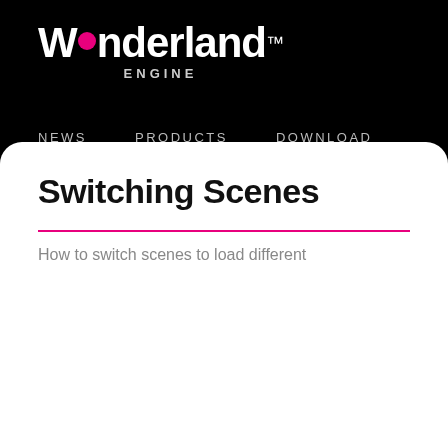[Figure (logo): Wonderland Engine logo — white bold text with a pink circle replacing the 'o', and 'ENGINE' in grey below]
NEWS   PRODUCTS   DOWNLOAD   SHOWCASE   LEARN
ACCOUNT
Switching Scenes
How to switch scenes to load different